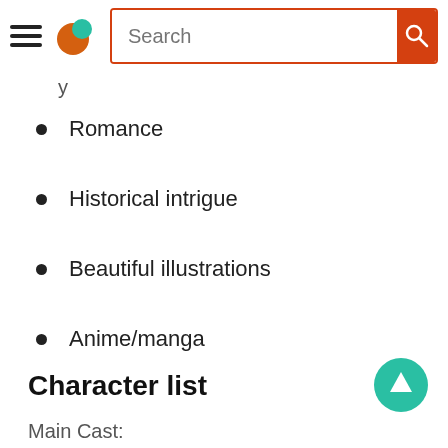Search
y
Romance
Historical intrigue
Beautiful illustrations
Anime/manga
Character list
Main Cast: